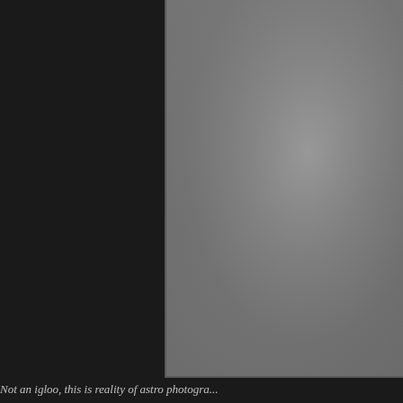[Figure (photo): Astrophotography image showing a grey textured celestial surface, framed with a dark border on a dark background. Partially visible on the right side of the page.]
Not an igloo, this is reality of astro photogra...
WWW.TIPS-FB.COM  POSTED BY J-P METSAVAINIO AT 11:53 PM
LABELS: CANON 200MM F1.8 IMAGES , CANON FD 200MM F2.8 IMAGES , NARR... TOKINA 300MM F2.8 IMAGES
170 COMMENTS:
Anonymous said...
Fantastic! Wonderful work and dedication!